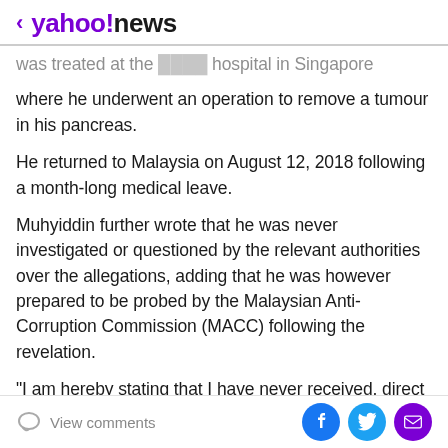< yahoo!news
where he underwent an operation to remove a tumour in his pancreas.
He returned to Malaysia on August 12, 2018 following a month-long medical leave.
Muhyiddin further wrote that he was never investigated or questioned by the relevant authorities over the allegations, adding that he was however prepared to be probed by the Malaysian Anti-Corruption Commission (MACC) following the revelation.
"I am hereby stating that I have never received, direct or indirect, any money from David Tan, a witness from
View comments